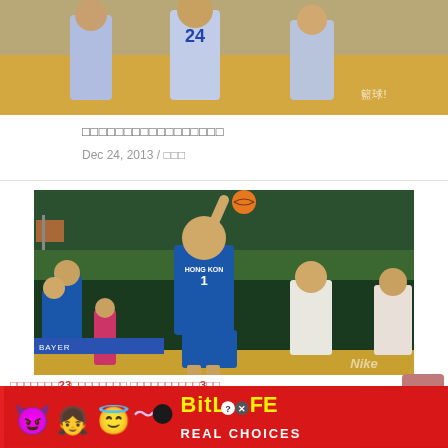[Figure (photo): Basketball team photo with players in light blue/gray jerseys, partially cropped at top]
□□□□□□□□□□□□□□□□□
Dec 24, 2013 / □□□
[Figure (photo): Basketball player wearing Hong Kong jersey number 1 reaching up to shoot ball at indoor arena with green backdrop and Nike advertisement]
□□□□□□□23□□□□□□□□ □□□□□□□□□□3□□
Feb 23, 2018
[Figure (photo): BitLife Real Choices advertisement banner with emoji characters]